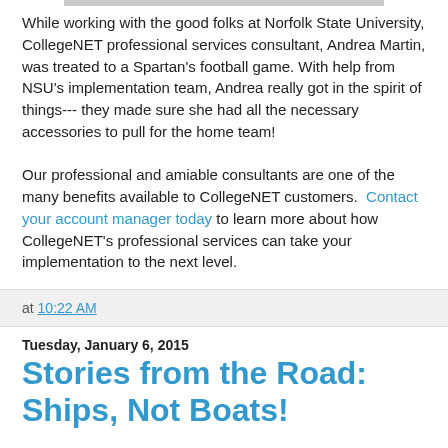While working with the good folks at Norfolk State University, CollegeNET professional services consultant, Andrea Martin, was treated to a Spartan's football game.  With help from NSU's implementation team, Andrea really got in the spirit of things--- they made sure she had all the necessary accessories to pull for the home team!

Our professional and amiable consultants are one of the many benefits available to CollegeNET customers.  Contact your account manager today to learn more about how CollegeNET's professional services can take your implementation to the next level.
at 10:22 AM
Tuesday, January 6, 2015
Stories from the Road: Ships, Not Boats!